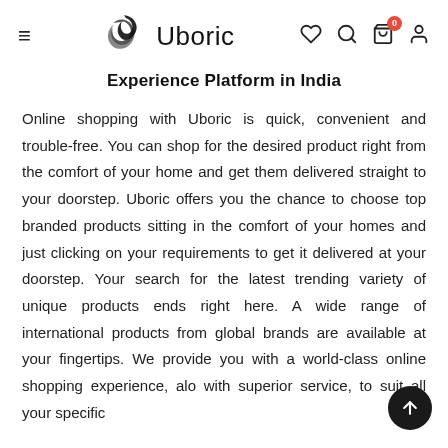≡  Uboric  ♡ 🔍 🛒 👤
Experience Platform in India
Online shopping with Uboric is quick, convenient and trouble-free. You can shop for the desired product right from the comfort of your home and get them delivered straight to your doorstep. Uboric offers you the chance to choose top branded products sitting in the comfort of your homes and just clicking on your requirements to get it delivered at your doorstep. Your search for the latest trending variety of unique products ends right here. A wide range of international products from global brands are available at your fingertips. We provide you with a world-class online shopping experience, along with superior service, to suit all your specific